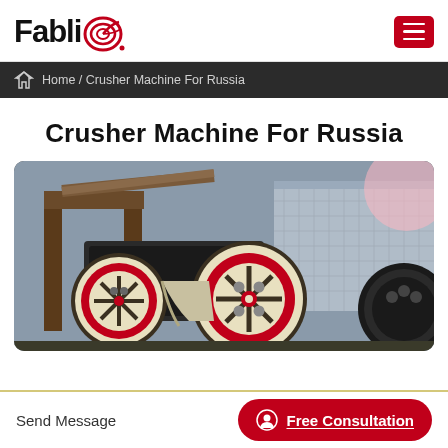FabliQ
Home / Crusher Machine For Russia
Crusher Machine For Russia
[Figure (photo): Industrial crusher machine with large red and white flywheel pulleys, photographed outdoors. Multiple crusher units visible with heavy steel frames.]
Send Message
Free Consultation